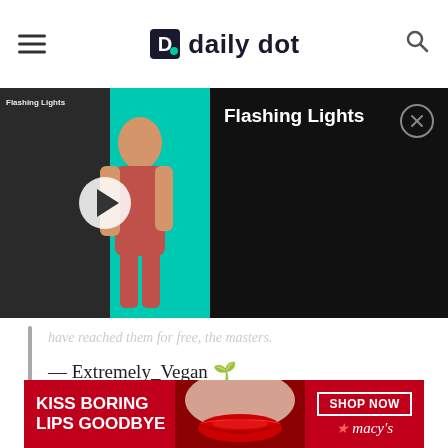daily dot
[Figure (screenshot): Video player overlay for 'Flashing Lights' showing a woman dancing on a teal background with a play button overlay, and a dark panel on the right with the title 'Flashing Lights' and a close button]
have reached them for free, the masters.
— Extremely_Vegan 🌱 (@Extremely_Vegan)
July 5, 2019
Despite the surprising number of people reinforcing the animal abuse idea, the majority of users disagreed. People with disabilities, in particular, shot down the
[Figure (screenshot): Macy's advertisement banner: 'KISS BORING LIPS GOODBYE' with a red lipstick model photo and 'SHOP NOW' button with Macy's star logo]